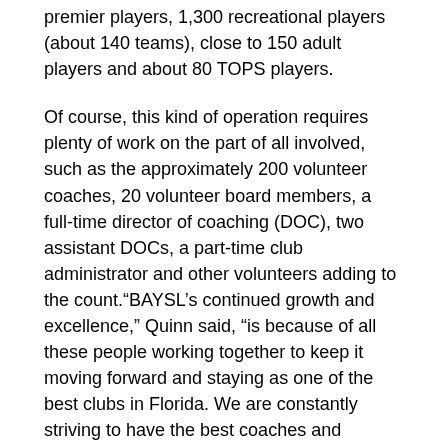premier players, 1,300 recreational players (about 140 teams), close to 150 adult players and about 80 TOPS players.
Of course, this kind of operation requires plenty of work on the part of all involved, such as the approximately 200 volunteer coaches, 20 volunteer board members, a full-time director of coaching (DOC), two assistant DOCs, a part-time club administrator and other volunteers adding to the count.“BAYSL’s continued growth and excellence,” Quinn said, “is because of all these people working together to keep it moving forward and staying as one of the best clubs in Florida. We are constantly striving to have the best coaches and trainers, whose primary goal is to develop players in four basic areas: technique, tactics, psychology and physical fitness.”